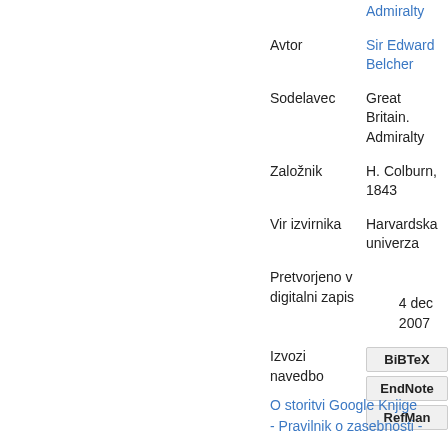|  | Admiralty |
| Avtor | Sir Edward Belcher |
| Sodelavec | Great Britain. Admiralty |
| Založnik | H. Colburn, 1843 |
| Vir izvirnika | Harvardska univerza |
| Pretvorjeno v digitalni zapis | 4 dec 2007 |
| Izvozi navedbo | BiBTeX | EndNote | RefMan |
O storitvi Google Knjige - Pravilnik o zasebnosti -